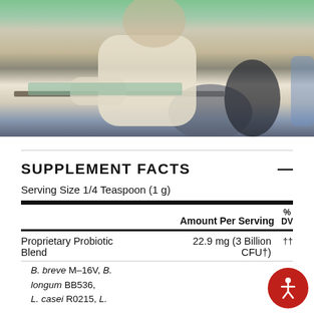[Figure (photo): A person sitting at a desk in what appears to be a clinical or office setting, viewed from the side. The person is wearing a light beige/cream colored top and appears to be interacting with items on the desk. Green background elements visible at top.]
SUPPLEMENT FACTS
Serving Size 1/4 Teaspoon (1 g)
|  | Amount Per Serving | % DV |
| --- | --- | --- |
| Proprietary Probiotic Blend | 22.9 mg (3 Billion CFU†) | †† |
| B. breve M-16V, B. longum BB536, L. casei R0215, L. |  |  |